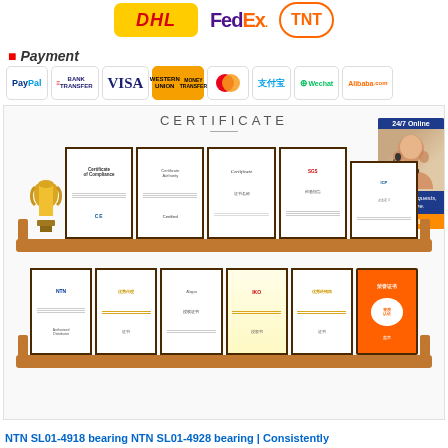[Figure (logo): DHL, FedEx, and TNT shipping company logos displayed in a row]
Payment
[Figure (logo): Payment method logos: PayPal, Bank Transfer, VISA, Western Union Money Transfer, Mastercard, Alipay, Wechat, Alibaba.com]
CERTIFICATE
[Figure (photo): Two shelves displaying various framed certificates and awards including a trophy, NTN certificate, CE certificate, IKO certificate, Koyo certificate, and other certifications. A customer service representative is shown on the right side with '24/7 Online' badge and Quotation button.]
NTN SL01-4918 bearing NTN SL01-4928 bearing | Consistently